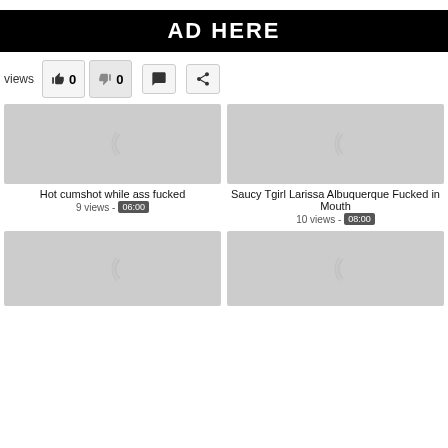[Figure (other): Black banner with white bold text reading AD HERE]
views  👍 0  👎 0  💬  share
[Figure (other): Gray video thumbnail placeholder with loading spinner icon]
Hot cumshot while ass fucked
9 views - 06:00
[Figure (other): Gray video thumbnail placeholder with loading spinner icon]
Saucy Tgirl Larissa Albuquerque Fucked in Mouth
10 views - 08:00
[Figure (other): Gray video thumbnail placeholder with loading spinner icon]
[Figure (other): Gray video thumbnail placeholder with loading spinner icon]